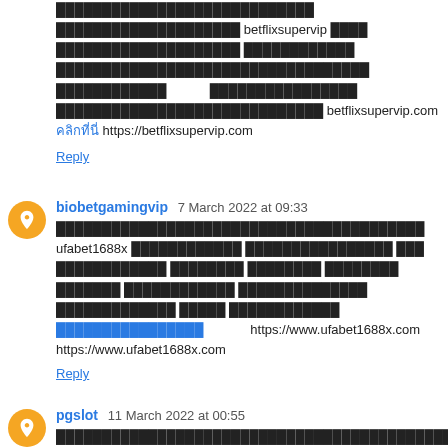Thai text content about betflixsupervip with link https://betflixsupervip.com
คลิก https://betflixsupervip.com
Reply
biobetgamingvip 7 March 2022 at 09:33
Thai text content about ufabet1688x with link https://www.ufabet1688x.com https://www.ufabet1688x.com
Reply
pgslot 11 March 2022 at 00:55
Thai text content pgslot